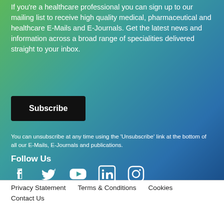If you're a healthcare professional you can sign up to our mailing list to receive high quality medical, pharmaceutical and healthcare E-Mails and E-Journals. Get the latest news and information across a broad range of specialities delivered straight to your inbox.
Subscribe
You can unsubscribe at any time using the 'Unsubscribe' link at the bottom of all our E-Mails, E-Journals and publications.
Follow Us
[Figure (infographic): Social media icons: Facebook, Twitter, YouTube, LinkedIn, Instagram in white on gradient background]
Privacy Statement   Terms & Conditions   Cookies   Contact Us